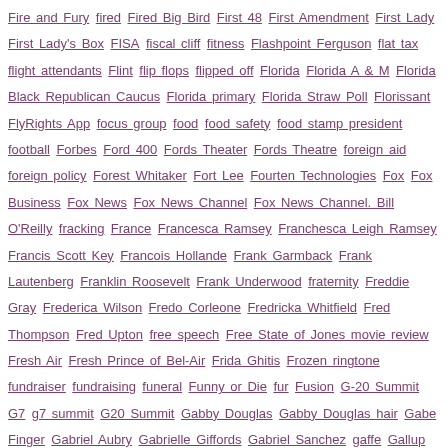Tag cloud: Fire and Fury, fired, Fired Big Bird, First 48, First Amendment, First Lady, First Lady's Box, FISA, fiscal cliff, fitness, Flashpoint Ferguson, flat tax, flight attendants, Flint, flip flops, flipped off, Florida, Florida A & M, Florida Black Republican Caucus, Florida primary, Florida Straw Poll, Florissant, FlyRights App, focus group, food, food safety, food stamp president, football, Forbes, Ford 400, Fords Theater, Fords Theatre, foreign aid, foreign policy, Forest Whitaker, Fort Lee, Fourten Technologies, Fox, Fox Business, Fox News, Fox News Channel, Fox News Channel. Bill O'Reilly, fracking, France, Francesca Ramsey, Franchesca Leigh Ramsey, Francis Scott Key, Francois Hollande, Frank Garmback, Frank Lautenberg, Franklin Roosevelt, Frank Underwood, fraternity, Freddie Gray, Frederica Wilson, Fredo Corleone, Fredricka Whitfield, Fred Thompson, Fred Upton, free speech, Free State of Jones movie review, Fresh Air, Fresh Prince of Bel-Air, Frida Ghitis, Frozen ringtone, fundraiser, fundraising, funeral, Funny or Die, fur, Fusion, G-20 Summit, G7, g7 summit, G20 Summit, Gabby Douglas, Gabby Douglas hair, Gabe Finger, Gabriel Aubry, Gabrielle Giffords, Gabriel Sanchez, gaffe, Gallup, Gallup Poll, gambling, Game Change, Game Of Thrones, gangsta Ted Cruz, Gap, gardening, Garfield Institute, Garrick Hopkins